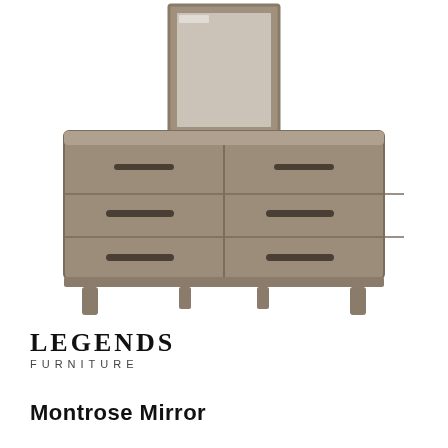[Figure (photo): A grey-brown wooden dresser with six drawers arranged in two columns (3 rows), dark bar handles on each drawer, with a rectangular framed mirror mounted on top. The furniture has tapered legs and a contemporary style.]
LEGENDS FURNITURE
Montrose Mirror